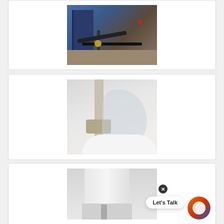[Figure (photo): Plumbing/HVAC equipment installation showing dark pipes, brass fittings, and blue painted wall in what appears to be a mechanical room or basement]
[Figure (photo): Close-up of plumbing pipe fitting with plastic protective covering, showing valve assembly near a white bathtub or sink, with blue adhesive cap on floor]
[Figure (photo): Bottom section of a white water heater tank showing base connections and pipes, with a chat widget overlay reading 'Let's Talk']